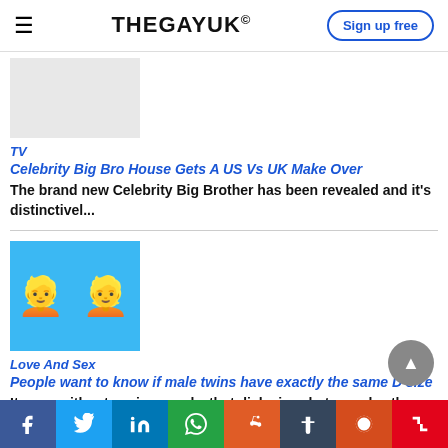THEGAYUK®
[Figure (photo): Partial image of a TV article thumbnail, light grey rectangle]
TV
Celebrity Big Bro House Gets A US Vs UK Make Over
The brand new Celebrity Big Brother has been revealed and it's distinctivel...
[Figure (photo): Two male emoji faces on a blue background]
Love And Sex
People want to know if male twins have exactly the same D size
It goes without saying surely, that dick sizes between brothers will be dif...